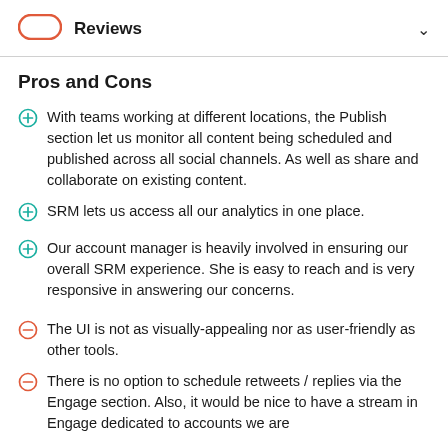Reviews
Pros and Cons
With teams working at different locations, the Publish section let us monitor all content being scheduled and published across all social channels. As well as share and collaborate on existing content.
SRM lets us access all our analytics in one place.
Our account manager is heavily involved in ensuring our overall SRM experience. She is easy to reach and is very responsive in answering our concerns.
The UI is not as visually-appealing nor as user-friendly as other tools.
There is no option to schedule retweets / replies via the Engage section. Also, it would be nice to have a stream in Engage dedicated to accounts we are